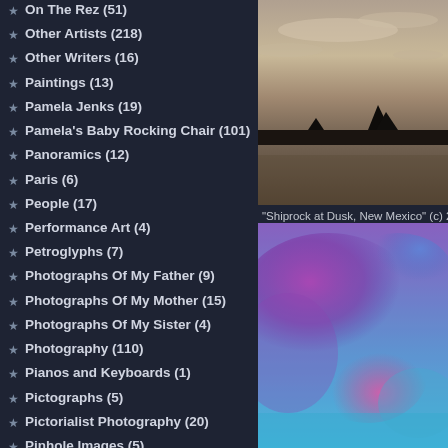On The Rez (51)
Other Artists (218)
Other Writers (16)
Paintings (13)
Pamela Jenks (19)
Pamela's Baby Rocking Chair (101)
Panoramics (12)
Paris (6)
People (17)
Performance Art (4)
Petroglyphs (7)
Photographs Of My Father (9)
Photographs Of My Mother (15)
Photographs Of My Sister (4)
Photography (110)
Pianos and Keyboards (1)
Pictographs (5)
Pictorialist Photography (20)
Pinhole Images (5)
Planetary Science (3)
Plants (13)
[Figure (photo): Sepia-toned landscape photograph of Shiprock at dusk, New Mexico, with dramatic sky and flat plains]
"Shiprock at Dusk, New Mexico" (c) 2...
[Figure (photo): Colorful abstract or painterly image with blues, purples, and pinks — possibly a watercolor or painted sky]